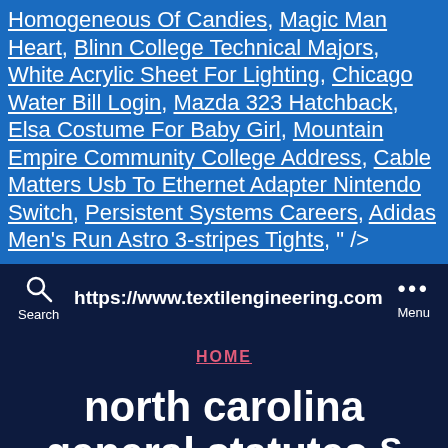Homogeneous Of Candies, Magic Man Heart, Blinn College Technical Majors, White Acrylic Sheet For Lighting, Chicago Water Bill Login, Mazda 323 Hatchback, Elsa Costume For Baby Girl, Mountain Empire Community College Address, Cable Matters Usb To Ethernet Adapter Nintendo Switch, Persistent Systems Careers, Adidas Men's Run Astro 3-stripes Tights, " />
[Figure (screenshot): Browser navigation bar showing https://www.textilengineering.com with Search icon on left and Menu (three dots) on right, on dark navy background]
HOME
north carolina general statutes § 14 12
By   January 22, 2021   No Comments